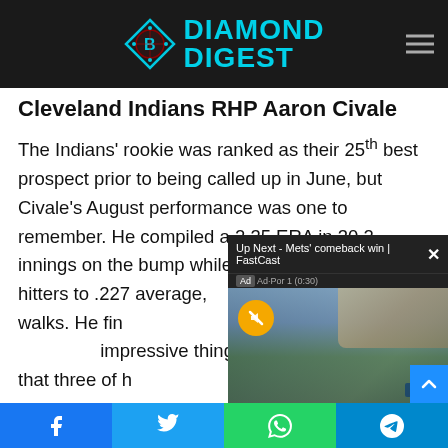DIAMOND DIGEST
Cleveland Indians RHP Aaron Civale
The Indians' rookie was ranked as their 25th best prospect prior to being called up in June, but Civale's August performance was one to remember. He compiled a 2.35 ERA in 30.2 innings on the bump while holding opposing hitters to .227 aver... only 3 walks. He fin... impressive 0.91 WH... impressive thing ab... fact that three of h...
[Figure (screenshot): Video overlay: 'Up Next - Mets' comeback win | FastCast' with ad label 'Ad-Por 1 (0:30)', mute button, baseball game scene, LifeB logo]
Facebook | Twitter | WhatsApp | Telegram social share bar